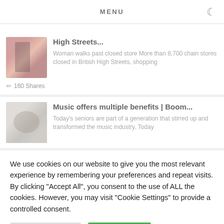MENU
High Streets...
Woman walks past closed store More than 8,700 chain stores closed in British High Streets, shopping
160 Shares
Music offers multiple benefits | Boom...
Today's seniors are part of a generation that stirred up and transformed the music industry. Today
We use cookies on our website to give you the most relevant experience by remembering your preferences and repeat visits. By clicking "Accept All", you consent to the use of ALL the cookies. However, you may visit "Cookie Settings" to provide a controlled consent.